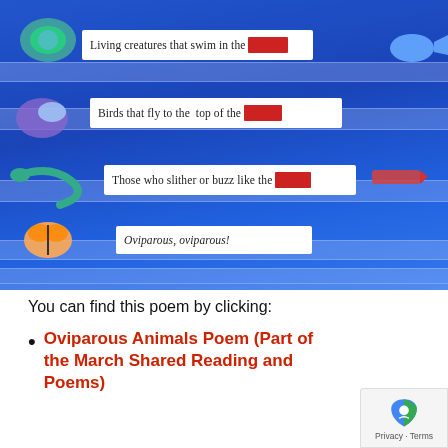[Figure (photo): A blue pocket chart with white card strips showing lines of an oviparous animals poem. Animal stickers (turtle, butterfly, snake, etc.) are placed on the left side. Red rectangles block out certain words. Cards read: 'Living creatures that swim in the [red]', 'Birds that fly to the top of the [red]', 'Those who slither or buzz like the [red]', 'Oviparous, oviparous!']
You can find this poem by clicking:
Oviparous Animals Poem (Part of the March Shared Reading and Poems)